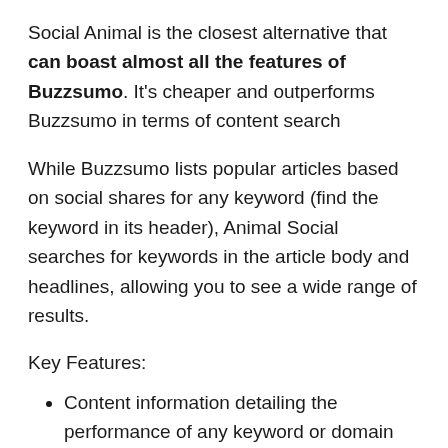Social Animal is the closest alternative that can boast almost all the features of Buzzsumo. It's cheaper and outperforms Buzzsumo in terms of content search
While Buzzsumo lists popular articles based on social shares for any keyword (find the keyword in its header), Animal Social searches for keywords in the article body and headlines, allowing you to see a wide range of results.
Key Features:
Content information detailing the performance of any keyword or domain over a given time period;